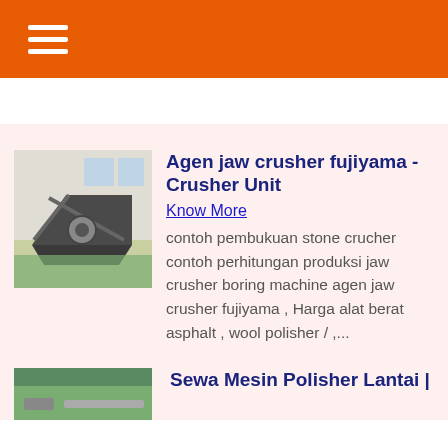☰
[Figure (photo): Jaw crusher machine in an industrial setting]
Agen jaw crusher fujiyama - Crusher Unit
Know More
contoh pembukuan stone crucher contoh perhitungan produksi jaw crusher boring machine agen jaw crusher fujiyama , Harga alat berat asphalt , wool polisher / ,...
[Figure (photo): Second article thumbnail image]
Sewa Mesin Polisher Lantai |